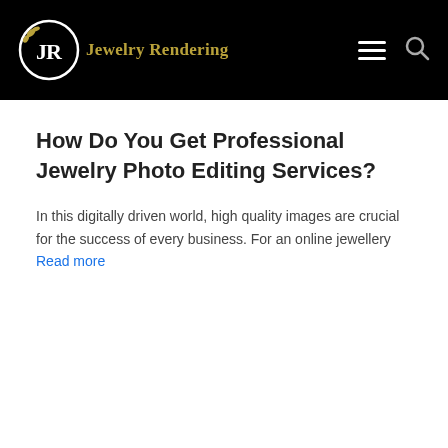Jewelry Rendering
How Do You Get Professional Jewelry Photo Editing Services?
In this digitally driven world, high quality images are crucial for the success of every business. For an online jewellery Read more